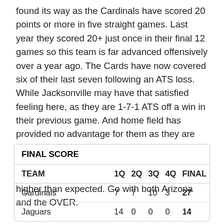found its way as the Cardinals have scored 20 points or more in five straight games. Last year they scored 20+ just once in their final 12 games so this team is far advanced offensively over a year ago. The Cards have now covered six of their last seven following an ATS loss. While Jacksonville may have that satisfied feeling here, as they are 1-7-1 ATS off a win in their previous game. And home field has provided no advantage for them as they are just 2-9 ATS at home dating back to last season. Both teams seem to have a sense of offense right now, so I expect this one to play higher than expected. Go with both Arizona and the OVER.
| TEAM | 1Q | 2Q | 3Q | 4Q | FINAL |
| --- | --- | --- | --- | --- | --- |
| Cardinals | 7 | 7 | 10 | 3 | 27 |
| Jaguars | 14 | 0 | 0 | 0 | 14 |